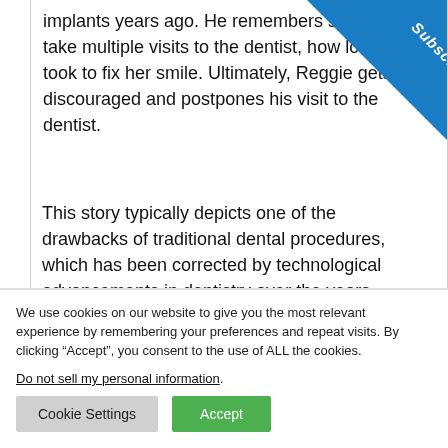implants years ago. He remembers she had to take multiple visits to the dentist, how long it took to fix her smile. Ultimately, Reggie gets discouraged and postpones his visit to the dentist.
This story typically depicts one of the drawbacks of traditional dental procedures, which has been corrected by technological advancements in dentistry over the years.
[Figure (other): Blue diagonal 'Subscribe' badge in top-right corner]
We use cookies on our website to give you the most relevant experience by remembering your preferences and repeat visits. By clicking “Accept”, you consent to the use of ALL the cookies.
Do not sell my personal information.